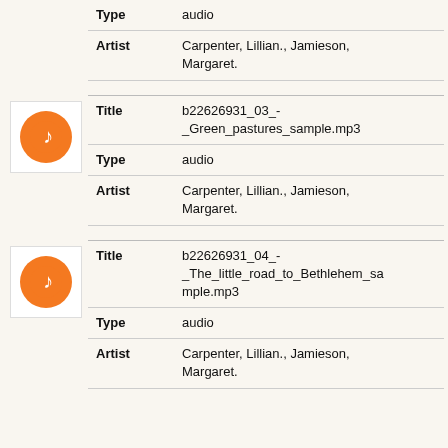| Field | Value |
| --- | --- |
| Type | audio |
| Artist | Carpenter, Lillian., Jamieson, Margaret. |
[Figure (illustration): Orange circle music note icon in white bordered box]
| Field | Value |
| --- | --- |
| Title | b22626931_03_-_Green_pastures_sample.mp3 |
| Type | audio |
| Artist | Carpenter, Lillian., Jamieson, Margaret. |
[Figure (illustration): Orange circle music note icon in white bordered box]
| Field | Value |
| --- | --- |
| Title | b22626931_04_-_The_little_road_to_Bethlehem_sample.mp3 |
| Type | audio |
| Artist | Carpenter, Lillian., Jamieson, Margaret. |